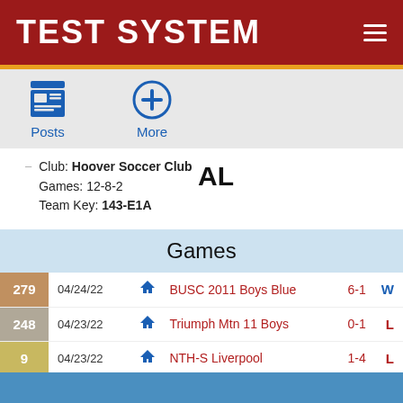TEST SYSTEM
[Figure (screenshot): Navigation icons: Posts (calendar/list icon) and More (plus circle icon)]
Club: Hoover Soccer Club
Games: 12-8-2
Team Key: 143-E1A
AL
Games
| Rank | Date | Home | Opponent | Score | Result |
| --- | --- | --- | --- | --- | --- |
| 279 | 04/24/22 | home | BUSC 2011 Boys Blue | 6-1 | W |
| 248 | 04/23/22 | home | Triumph Mtn 11 Boys | 0-1 | L |
| 9 | 04/23/22 | home | NTH-S Liverpool | 1-4 | L |
SincVIP Access